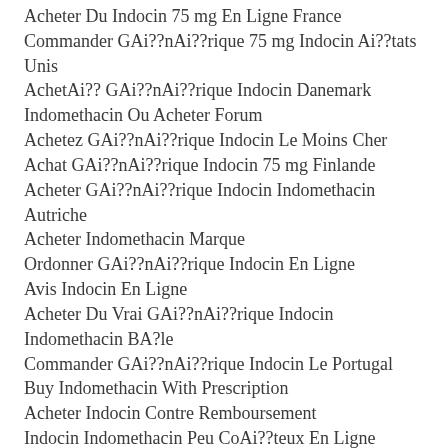Acheter Du Indocin 75 mg En Ligne France
Commander GAi??nAi??rique 75 mg Indocin Ai??tats Unis
AchetAi?? GAi??nAi??rique Indocin Danemark
Indomethacin Ou Acheter Forum
Achetez GAi??nAi??rique Indocin Le Moins Cher
Achat GAi??nAi??rique Indocin 75 mg Finlande
Acheter GAi??nAi??rique Indocin Indomethacin Autriche
Acheter Indomethacin Marque
Ordonner GAi??nAi??rique Indocin En Ligne
Avis Indocin En Ligne
Acheter Du Vrai GAi??nAi??rique Indocin Indomethacin BA?le
Commander GAi??nAi??rique Indocin Le Portugal
Buy Indomethacin With Prescription
Acheter Indocin Contre Remboursement
Indocin Indomethacin Peu CoAi??teux En Ligne
Meilleur Site Pour Commander Du Indocin 75 mg